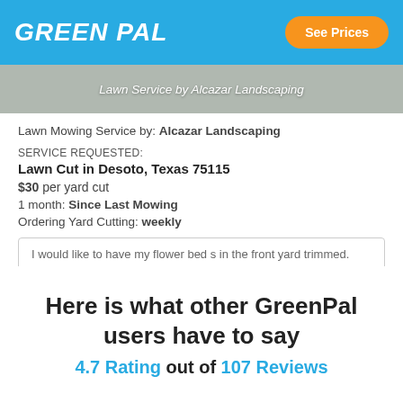GREENPAL  See Prices
[Figure (photo): Banner image for Lawn Service by Alcazar Landscaping with grey/green tinted background]
Lawn Mowing Service by: Alcazar Landscaping
SERVICE REQUESTED:
Lawn Cut in Desoto, Texas 75115
$30 per yard cut
1 month: Since Last Mowing
Ordering Yard Cutting: weekly
I would like to have my flower bed s in the front yard trimmed.
Here is what other GreenPal users have to say
4.7 Rating out of 107 Reviews